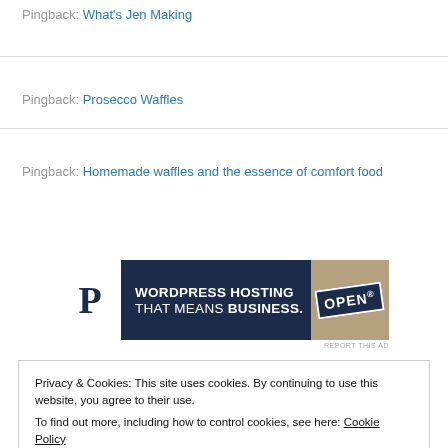Pingback: What's Jen Making
Pingback: Prosecco Waffles
Pingback: Homemade waffles and the essence of comfort food
[Figure (other): Advertisement banner for WordPress Hosting: 'WORDPRESS HOSTING THAT MEANS BUSINESS.' with a P logo and an OPEN sign image]
REPORT THIS AD
Privacy & Cookies: This site uses cookies. By continuing to use this website, you agree to their use.
To find out more, including how to control cookies, see here: Cookie Policy
Close and accept